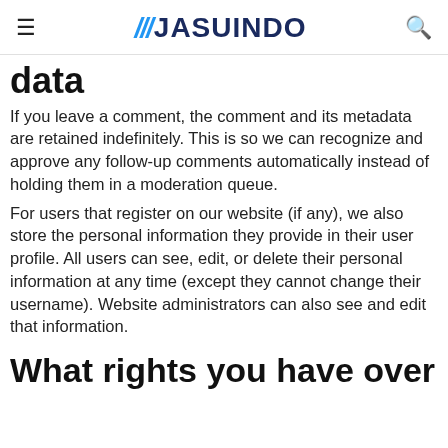≡  ///JASUINDO  🔍
data
If you leave a comment, the comment and its metadata are retained indefinitely. This is so we can recognize and approve any follow-up comments automatically instead of holding them in a moderation queue.
For users that register on our website (if any), we also store the personal information they provide in their user profile. All users can see, edit, or delete their personal information at any time (except they cannot change their username). Website administrators can also see and edit that information.
What rights you have over